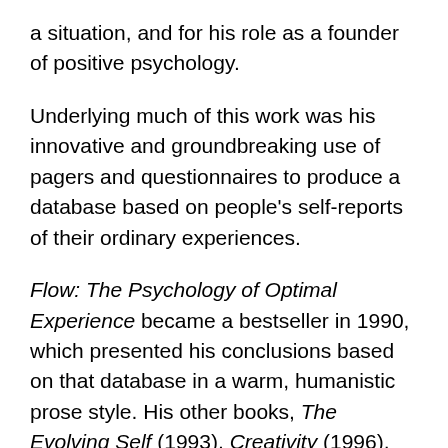a situation, and for his role as a founder of positive psychology.
Underlying much of this work was his innovative and groundbreaking use of pagers and questionnaires to produce a database based on people's self-reports of their ordinary experiences.
Flow: The Psychology of Optimal Experience became a bestseller in 1990, which presented his conclusions based on that database in a warm, humanistic prose style. His other books, The Evolving Self (1993), Creativity (1996), and Good Business (2003), expanded on his theories in a variety of directions.
Because Csikszentmihalyi's approach generated a cross-section of daily experience, his analysis paid more attention to experiences of positive states–like